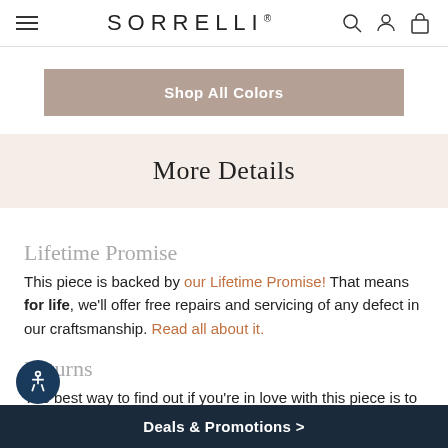SORRELLI
Shop All Colors
More Details
Lifetime Promise
This piece is backed by our Lifetime Promise! That means for life, we'll offer free repairs and servicing of any defect in our craftsmanship. Read all about it.
Returns
The best way to find out if you're in love with this piece is to try it. So go ahead, we give you 30 days to test this style out at home.
Deals & Promotions >